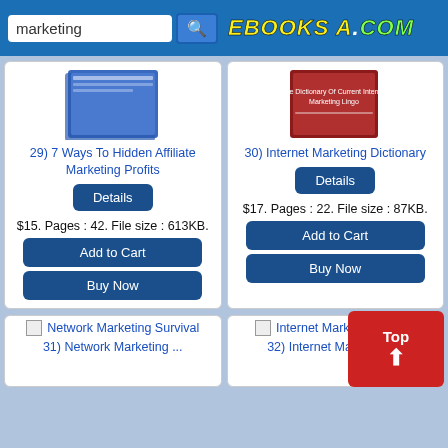marketing | EBOOKSA.COM
[Figure (screenshot): Book cover for 7 Ways To Hidden Affiliate Marketing Profits (blue book)]
29) 7 Ways To Hidden Affiliate Marketing Profits
Details
$15. Pages : 42. File size : 613KB.
Add to Cart
Buy Now
[Figure (screenshot): Book cover for The Dictionary Of Current Internet Marketing Lingo (red book)]
30) Internet Marketing Dictionary
Details
$17. Pages : 22. File size : 87KB.
Add to Cart
Buy Now
[Figure (screenshot): Broken image placeholder for Network Marketing Survival]
Network Marketing Survival
31) Network Marketing ...
[Figure (screenshot): Broken image placeholder for Internet Marketing Profits]
Internet Marketing Profits
32) Internet Marketing ...
Top ↑